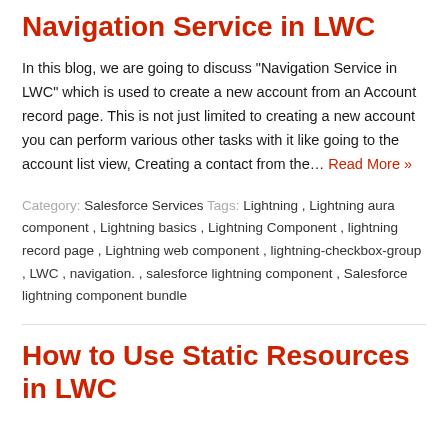Navigation Service in LWC
In this blog, we are going to discuss “Navigation Service in LWC” which is used to create a new account from an Account record page. This is not just limited to creating a new account you can perform various other tasks with it like going to the account list view, Creating a contact from the… Read More »
Category: Salesforce Services Tags: Lightning , Lightning aura component , Lightning basics , Lightning Component , lightning record page , Lightning web component , lightning-checkbox-group , LWC , navigation. , salesforce lightning component , Salesforce lightning component bundle
How to Use Static Resources in LWC